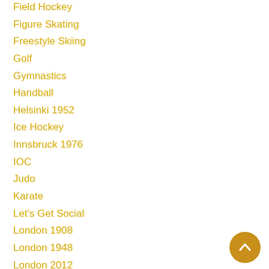Field Hockey
Figure Skating
Freestyle Skiing
Golf
Gymnastics
Handball
Helsinki 1952
Ice Hockey
Innsbruck 1976
IOC
Judo
Karate
Let's Get Social
London 1908
London 1948
London 2012
Los Angeles 1984
Los Angeles 2028
Luge
Melbourne 1956
Mexico City 1968